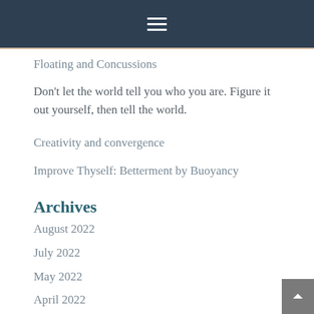Floating and Concussions
Don't let the world tell you who you are. Figure it out yourself, then tell the world.
Creativity and convergence
Improve Thyself: Betterment by Buoyancy
Archives
August 2022
July 2022
May 2022
April 2022